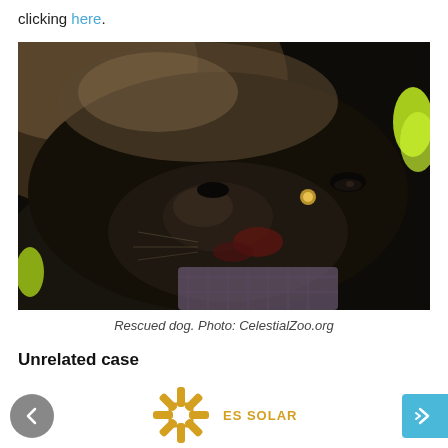clicking here.
[Figure (photo): Close-up photo of a black rescue dog with a gold collar charm, eyes partially closed, held by a person with yellow-green nails. The dog appears to be resting against a dark surface with a patterned cloth visible. Photo credit: CelestialZoo.org]
Rescued dog. Photo: CelestialZoo.org
Unrelated case
[Figure (logo): ES SOLAR logo — a yellow/gold asterisk/snowflake-style symbol with a square in the center, next to the text 'ES SOLAR' in yellow/gold.]